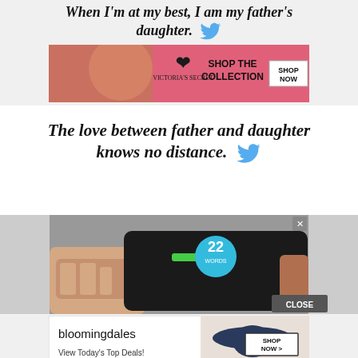When I'm at my best, I am my father's daughter. [twitter bird]
[Figure (screenshot): Victoria's Secret advertisement banner with model, VS logo, and 'Shop the Collection / Shop Now' button]
The love between father and daughter knows no distance. [twitter bird]
[Figure (screenshot): 22 Words advertisement showing hands holding a camera with a '22 Words' badge and a close button]
[Figure (screenshot): Bloomingdales advertisement with 'View Today's Top Deals!' text and 'Shop Now >' button]